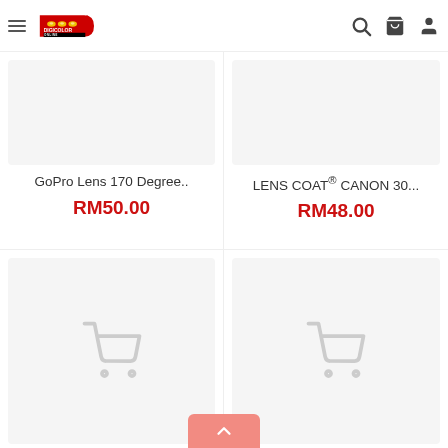Digicolor Online — navigation header with logo, search, cart, and account icons
[Figure (screenshot): Product thumbnail placeholder (light grey box) for GoPro Lens 170 Degree..]
GoPro Lens 170 Degree..
RM50.00
[Figure (screenshot): Product thumbnail placeholder (light grey box) for LENS COAT® CANON 30...]
LENS COAT® CANON 30...
RM48.00
[Figure (screenshot): Product placeholder with shopping cart icon (light grey box)]
[Figure (screenshot): Product placeholder with shopping cart icon (light grey box)]